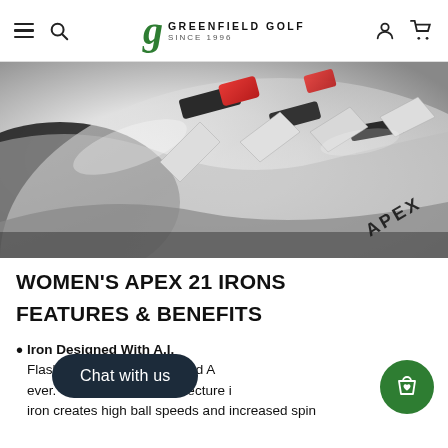Greenfield Golf Since 1996 — navigation header with hamburger menu, search, account, and cart icons
[Figure (photo): Close-up macro photo of a Callaway Apex 21 iron golf club head showing internal cavity with red and silver accents and APEX branding text]
WOMEN'S APEX 21 IRONS
FEATURES & BENEFITS
Iron Designed With A.I. Flash Face Cup is in a forged A... ever. The unique A.I. architecture in... iron creates high ball speeds and increased spin